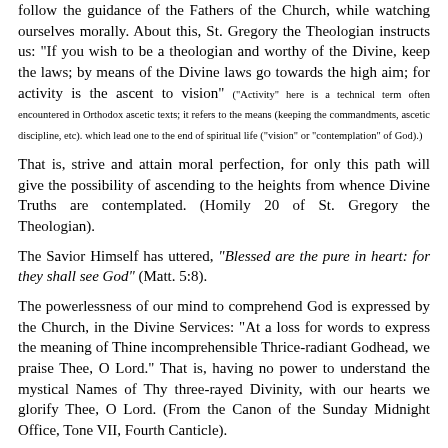follow the guidance of the Fathers of the Church, while watching ourselves morally. About this, St. Gregory the Theologian instructs us: "If you wish to be a theologian and worthy of the Divine, keep the laws; by means of the Divine laws go towards the high aim; for activity is the ascent to vision" ("Activity" here is a technical term often encountered in Orthodox ascetic texts; it refers to the means (keeping the commandments, ascetic discipline, etc). which lead one to the end of spiritual life ("vision" or "contemplation" of God).)
That is, strive and attain moral perfection, for only this path will give the possibility of ascending to the heights from whence Divine Truths are contemplated. (Homily 20 of St. Gregory the Theologian).
The Savior Himself has uttered, "Blessed are the pure in heart: for they shall see God" (Matt. 5:8).
The powerlessness of our mind to comprehend God is expressed by the Church, in the Divine Services: "At a loss for words to express the meaning of Thine incomprehensible Thrice-radiant Godhead, we praise Thee, O Lord." That is, having no power to understand the mystical Names of Thy three-rayed Divinity, with our hearts we glorify Thee, O Lord. (From the Canon of the Sunday Midnight Office, Tone VII, Fourth Canticle).
In antiquity certain of the heretics introduced the idea that God is